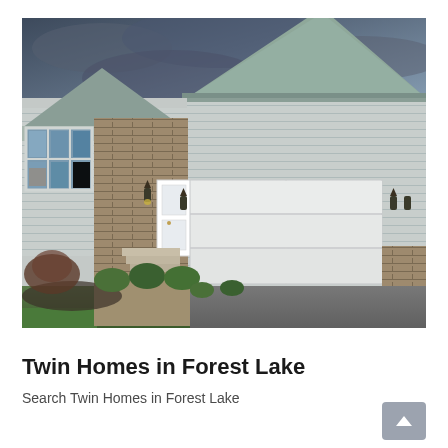[Figure (photo): Exterior photo of a twin home in Forest Lake. The house has light gray vinyl siding, a large two-car garage with white panel door, brick accent sections, a covered entryway with steps, large windows on the left side of the facade, wall sconce lights, and well-manicured landscaping with small shrubs and green lawn in the foreground. The sky is overcast and dark gray.]
Twin Homes in Forest Lake
Search Twin Homes in Forest Lake